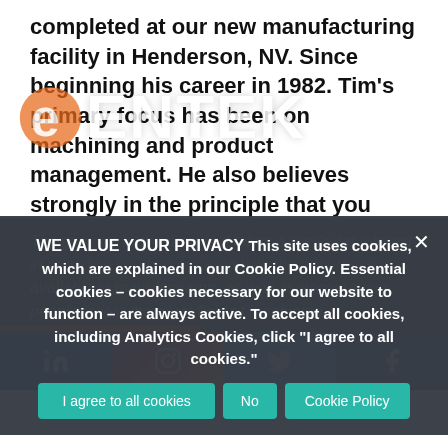completed at our new manufacturing facility in Henderson, NV. Since beginning his career in 1982. Tim's primary focus has been on machining and product management. He also believes strongly in the principle that you need to grow people in order to grow a business successfully.
[Figure (logo): ENTEK company logo with circular e icon in orange and white text ENTEK]
Tim grew up in the area and takes a particular interest in providing youth in our area with the opportunities available in manufacturing, as well as encouraging people to join the great field of machining.
WE VALUE YOUR PRIVACY This site uses cookies, which are explained in our Cookie Policy. Essential cookies – cookies necessary for our website to function – are always active. To accept all cookies, including Analytics Cookies, click "I agree to all cookies."
[Figure (infographic): Social media bar at the bottom with LinkedIn, Instagram, Twitter, and Facebook icons]